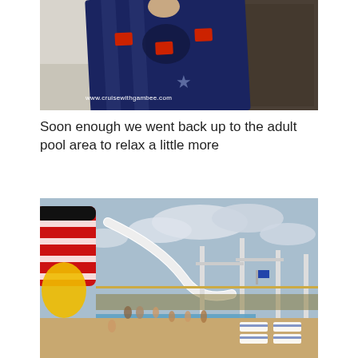[Figure (photo): Close-up photo of a navy blue Mickey Mouse themed beach towel laid out, with red and white accents, on what appears to be a cruise ship cabin floor/surface. Watermark reads www.cruisewithgambee.com]
Soon enough we went back up to the adult pool area to relax a little more
[Figure (photo): Wide-angle photo of a Disney cruise ship pool deck area showing a large pool, water slides, the distinctive red and black Mickey Mouse funnel/smokestack, lounge chairs, and many passengers enjoying the sun.]